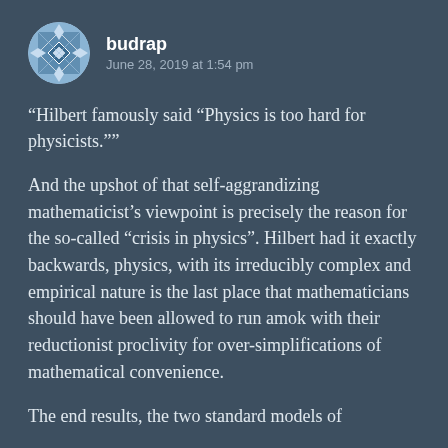budrap — June 28, 2019 at 1:54 pm
“Hilbert famously said “Physics is too hard for physicists.””
And the upshot of that self-aggrandizing mathematicist’s viewpoint is precisely the reason for the so-called “crisis in physics”. Hilbert had it exactly backwards, physics, with its irreducibly complex and empirical nature is the last place that mathematicians should have been allowed to run amok with their reductionist proclivity for over-simplifications of mathematical convenience.
The end results, the two standard models of